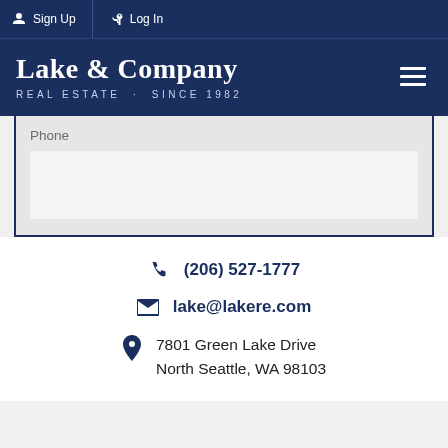Sign Up  Log In
Lake & Company
REAL ESTATE · SINCE 1982
Phone
(206) 527-1777
lake@lakere.com
7801 Green Lake Drive
North Seattle, WA 98103